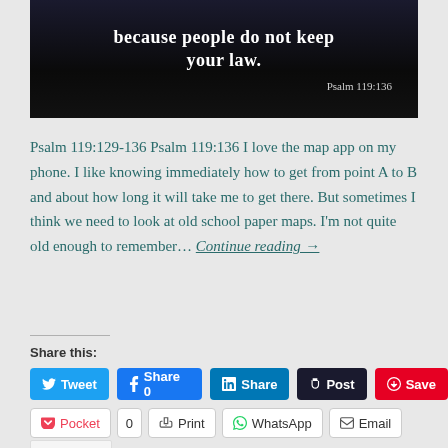[Figure (photo): Dark background image with white bold text reading 'because people do not keep your law.' and reference 'Psalm 119:136' in the bottom right]
Psalm 119:129-136 Psalm 119:136 I love the map app on my phone. I like knowing immediately how to get from point A to B and about how long it will take me to get there. But sometimes I think we need to look at old school paper maps. I'm not quite old enough to remember… Continue reading →
Share this:
Tweet | Share 0 | Share | Post | Save
Pocket | 0 | Print | WhatsApp | Email